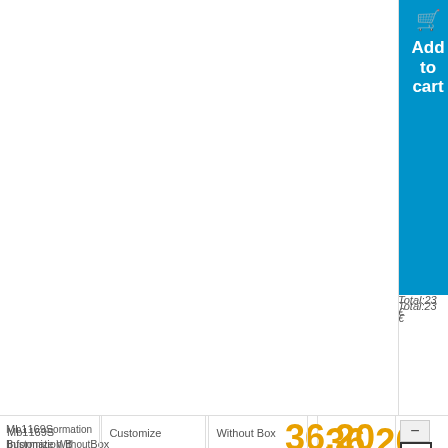[Figure (screenshot): E-commerce product listing page showing items with model numbers, information columns, customization options, prices in orange (€36.20, €23.02), Add to Cart buttons in blue, and a cookie consent overlay with REJECT ALL and I ACCEPT buttons.]
Mb1169S / Information B / Customize / Without Box
36.20 €
Total:36...€
Add to cart
REJECT ALL
I ACCEPT
1169S-G / Green / Without Box
23.02 €